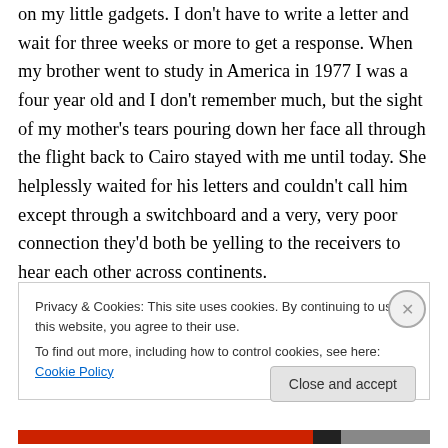on my little gadgets. I don't have to write a letter and wait for three weeks or more to get a response. When my brother went to study in America in 1977 I was a four year old and I don't remember much, but the sight of my mother's tears pouring down her face all through the flight back to Cairo stayed with me until today. She helplessly waited for his letters and couldn't call him except through a switchboard and a very, very poor connection they'd both be yelling to the receivers to hear each other across continents.
Privacy & Cookies: This site uses cookies. By continuing to use this website, you agree to their use.
To find out more, including how to control cookies, see here: Cookie Policy